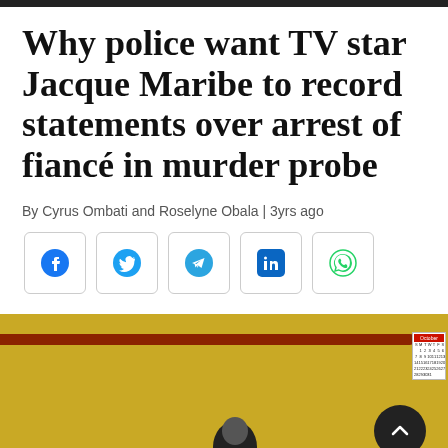Why police want TV star Jacque Maribe to record statements over arrest of fiancé in murder probe
By Cyrus Ombati and Roselyne Obala | 3yrs ago
[Figure (other): Social media share buttons: Facebook, Twitter, Telegram, LinkedIn, WhatsApp]
[Figure (photo): Photo of a person in a yellow-walled room with a brown shelf, a calendar on the wall, and a scroll-to-top button overlay]